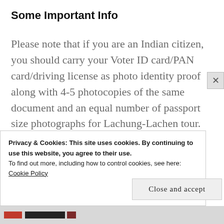Some Important Info
Please note that if you are an Indian citizen, you should carry your Voter ID card/PAN card/driving license as photo identity proof along with 4-5 photocopies of the same document and an equal number of passport size photographs for Lachung-Lachen tour. You may need to submit these documents to get the travel
Privacy & Cookies: This site uses cookies. By continuing to use this website, you agree to their use.
To find out more, including how to control cookies, see here:
Cookie Policy
Close and accept